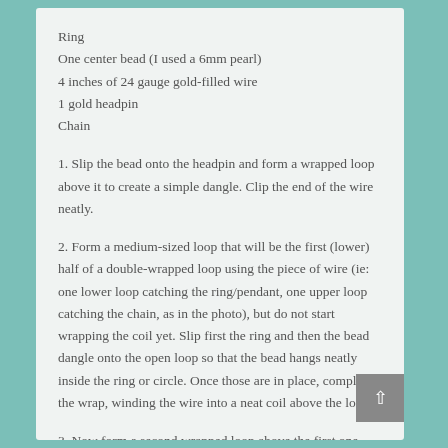Ring
One center bead (I used a 6mm pearl)
4 inches of 24 gauge gold-filled wire
1 gold headpin
Chain
1. Slip the bead onto the headpin and form a wrapped loop above it to create a simple dangle. Clip the end of the wire neatly.
2. Form a medium-sized loop that will be the first (lower) half of a double-wrapped loop using the piece of wire (ie: one lower loop catching the ring/pendant, one upper loop catching the chain, as in the photo), but do not start wrapping the coil yet. Slip first the ring and then the bead dangle onto the open loop so that the bead hangs neatly inside the ring or circle. Once those are in place, complete the wrap, winding the wire into a neat coil above the loop.
3. Now form a second wrapped loop above the first one, slipping your chain into the open loop before completing the wrap. Finish your pendant by coiling the wire around